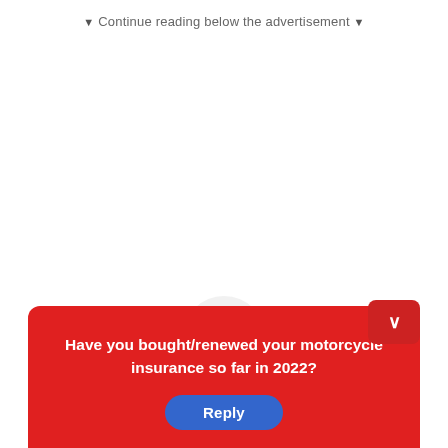▼ Continue reading below the advertisement ▼
Have you bought/renewed your motorcycle insurance so far in 2022?
Reply